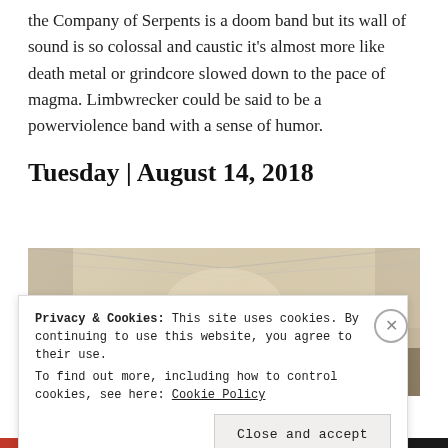the Company of Serpents is a doom band but its wall of sound is so colossal and caustic it's almost more like death metal or grindcore slowed down to the pace of magma. Limbwrecker could be said to be a powerviolence band with a sense of humor.
Tuesday | August 14, 2018
[Figure (photo): Band photo of five people standing in a corridor/basement room with exposed ceiling beams and brick walls, lit from behind]
Privacy & Cookies: This site uses cookies. By continuing to use this website, you agree to their use. To find out more, including how to control cookies, see here: Cookie Policy